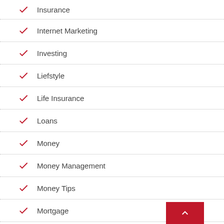Insurance
Internet Marketing
Investing
Liefstyle
Life Insurance
Loans
Money
Money Management
Money Tips
Mortgage